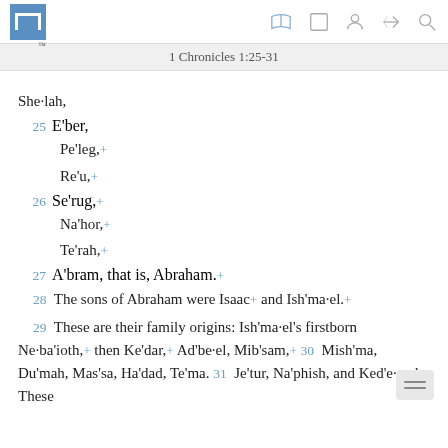1 Chronicles 1:25-31
She·lah,
25 E'ber,
Pe'leg,+
Re'u,+
26 Se'rug,+
Na'hor,+
Te'rah,+
27 A'bram, that is, Abraham.+
28 The sons of Abraham were Isaac+ and Ish'ma·el.+
29 These are their family origins: Ish'ma·el's firstborn Ne·ba'ioth,+ then Ke'dar,+ Ad'be·el, Mib'sam,+ 30 Mish'ma, Du'mah, Mas'sa, Ha'dad, Te'ma, 31 Je'tur, Na'phish, and Ked'e·mah. These